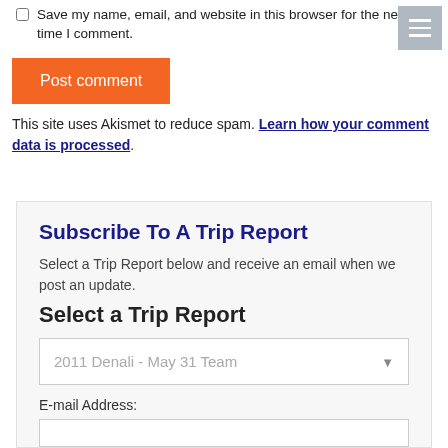Save my name, email, and website in this browser for the next time I comment.
[Figure (other): Hamburger menu icon button (three horizontal lines) on gray background in top-right corner]
Post comment
This site uses Akismet to reduce spam. Learn how your comment data is processed.
Subscribe To A Trip Report
Select a Trip Report below and receive an email when we post an update.
Select a Trip Report
2011 Denali - May 31 Team
E-mail Address: